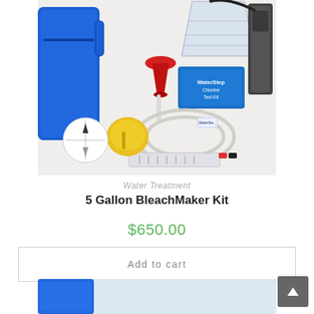[Figure (photo): Product photo of 5 Gallon BleachMaker Kit showing a blue storage container, measuring cup, red funnel, hose/tubing, electrode plate, chlorine test kit box, and various accessories laid out on a white surface.]
Water Treatment
5 Gallon BleachMaker Kit
$650.00
Add to cart
[Figure (photo): Bottom partial product image showing blue container, partially visible.]